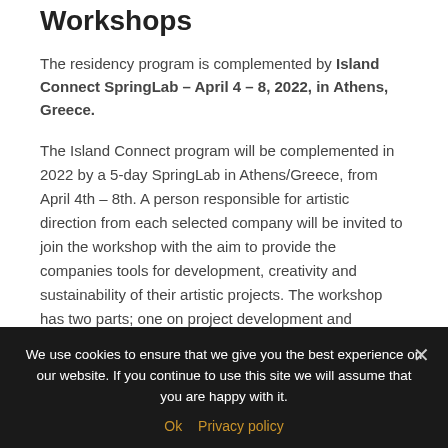Workshops
The residency program is complemented by Island Connect SpringLab – April 4 – 8, 2022, in Athens, Greece.
The Island Connect program will be complemented in 2022 by a 5-day SpringLab in Athens/Greece, from April 4th – 8th. A person responsible for artistic direction from each selected company will be invited to join the workshop with the aim to provide the companies tools for development, creativity and sustainability of their artistic projects. The workshop has two parts; one on project development and dramaturgy, one on personal leadership. There will also be a seminar on aspects of
We use cookies to ensure that we give you the best experience on our website. If you continue to use this site we will assume that you are happy with it.
Ok   Privacy policy